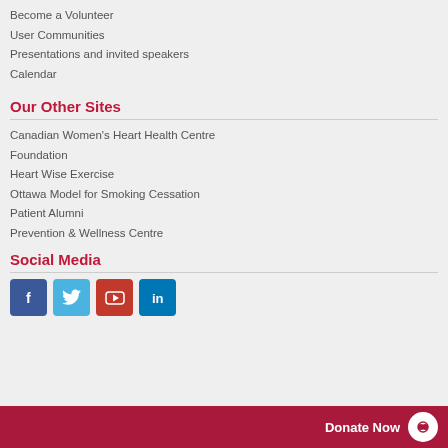Become a Volunteer
User Communities
Presentations and invited speakers
Calendar
Our Other Sites
Canadian Women's Heart Health Centre
Foundation
Heart Wise Exercise
Ottawa Model for Smoking Cessation
Patient Alumni
Prevention & Wellness Centre
Social Media
[Figure (infographic): Social media icons: Facebook, Twitter, YouTube, LinkedIn]
Donate Now